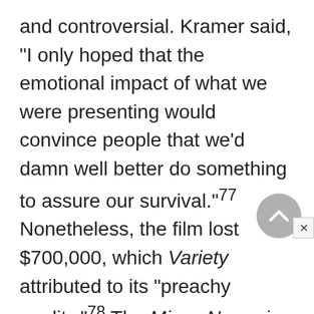and controversial. Kramer said, "I only hoped that the emotional impact of what we were presenting would convince people that we'd damn well better do something to assure our survival."77 Nonetheless, the film lost $700,000, which Variety attributed to its "preachy quality."78 The Mirror News, in a story about the disputes over On the Beach, reported that Senator Wallace Bennett of Utah spoke against the film in Congress saying, "In my opinion it paints a